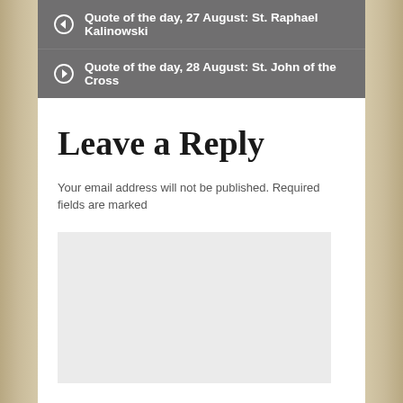Quote of the day, 27 August: St. Raphael Kalinowski
Quote of the day, 28 August: St. John of the Cross
Leave a Reply
Your email address will not be published. Required fields are marked